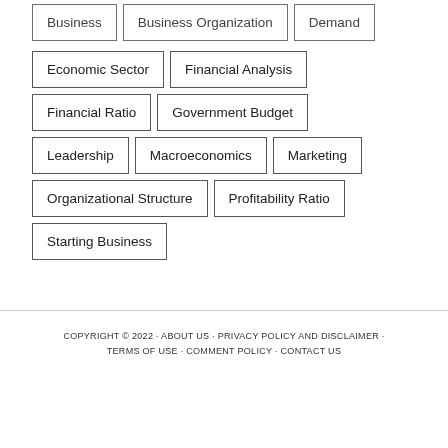Business
Business Organization
Demand
Economic Sector
Financial Analysis
Financial Ratio
Government Budget
Leadership
Macroeconomics
Marketing
Organizational Structure
Profitability Ratio
Starting Business
COPYRIGHT © 2022 · ABOUT US · PRIVACY POLICY AND DISCLAIMER · TERMS OF USE · COMMENT POLICY · CONTACT US